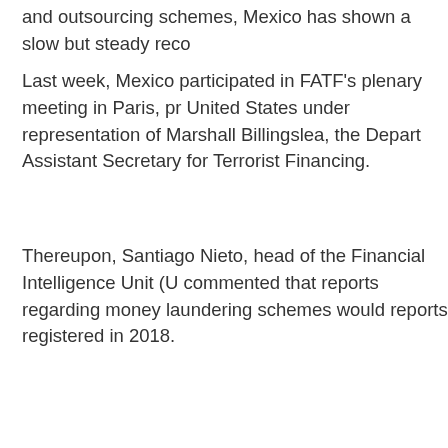and outsourcing schemes, Mexico has shown a slow but steady reco
Last week, Mexico participated in FATF's plenary meeting in Paris, pr United States under representation of Marshall Billingslea, the Depart Assistant Secretary for Terrorist Financing.
Thereupon, Santiago Nieto, head of the Financial Intelligence Unit (U commented that reports regarding money laundering schemes would reports registered in 2018.